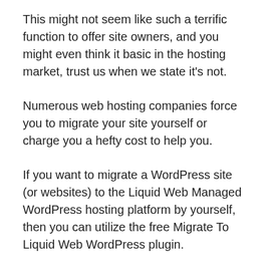This might not seem like such a terrific function to offer site owners, and you might even think it basic in the hosting market, trust us when we state it's not.
Numerous web hosting companies force you to migrate your site yourself or charge you a hefty cost to help you.
If you want to migrate a WordPress site (or websites) to the Liquid Web Managed WordPress hosting platform by yourself, then you can utilize the free Migrate To Liquid Web WordPress plugin.
The plugin takes care of everything, from copying